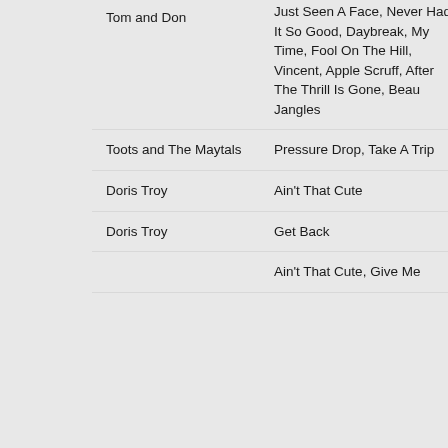| Artist | Songs | Album | Year |
| --- | --- | --- | --- |
| Tom and Don | Just Seen A Face, Never Had It So Good, Daybreak, My Time, Fool On The Hill, Vincent, Apple Scruff, After The Thrill Is Gone, Beau Jangles |  | Unissued |
| Toots and The Maytals | Pressure Drop, Take A Trip | True Love | 2004 |
| Doris Troy | Ain't That Cute | Single (A Side) | 1970 |
| Doris Troy | Get Back | Single (B Side) | 1970 |
|  | Ain't That Cute, Give Me |  |  |